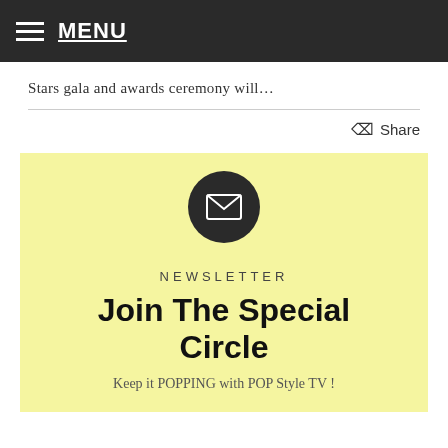MENU
Stars gala and awards ceremony will…
Share
[Figure (illustration): Dark circle with white envelope icon representing newsletter signup]
NEWSLETTER
Join The Special Circle
Keep it POPPING with POP Style TV !